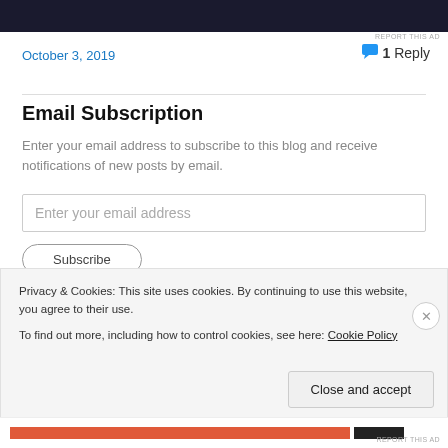[Figure (other): Top dark banner advertisement area]
REPORT THIS AD
October 3, 2019
1 Reply
Email Subscription
Enter your email address to subscribe to this blog and receive notifications of new posts by email.
Enter your email address
Privacy & Cookies: This site uses cookies. By continuing to use this website, you agree to their use.
To find out more, including how to control cookies, see here: Cookie Policy
Close and accept